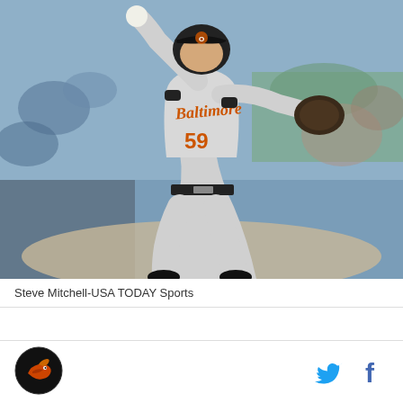[Figure (photo): Baltimore Orioles pitcher number 59 in gray away jersey mid-pitch delivery, crowd visible in stadium background. Photo by Steve Mitchell-USA TODAY Sports.]
Steve Mitchell-USA TODAY Sports
[Figure (logo): Sports website logo - circular black logo with orange/red bird graphic on left side of page footer]
[Figure (illustration): Twitter bird icon in cyan blue color and Facebook 'f' icon in dark blue, social sharing buttons on right side of footer]